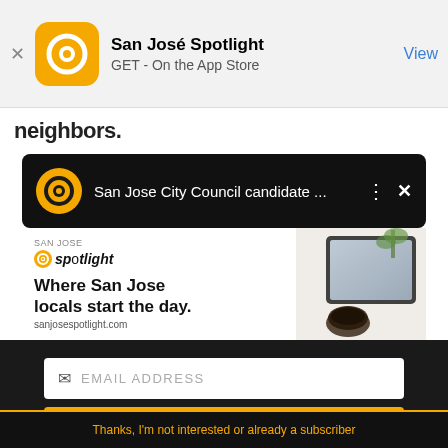[Figure (screenshot): App Store smart banner showing San José Spotlight app with yellow logo, app name, GET - On the App Store subtitle, and blue View button]
neighbors.
[Figure (screenshot): Push notification bar on dark background showing San José Spotlight logo and text 'San Jose City Council candidate ...' with three-dot menu and close button]
[Figure (screenshot): San Jose Spotlight advertisement banner showing logo, tagline 'Where San Jose locals start the day.' and URL sanjosespotlight.com with tablet image]
EMAIL ADDRESS
SUBSCRIBE
Thanks, I'm not interested or already a subscriber